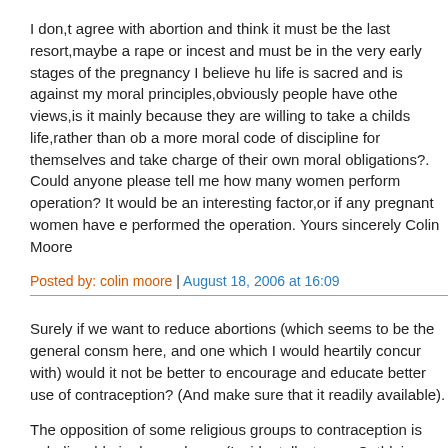I don,t agree with abortion and think it must be the last resort,maybe a rape or incest and must be in the very early stages of the pregnancy I believe human life is sacred and is against my moral principles,obviously people have other views,is it mainly because they are willing to take a childs life,rather than obey a more moral code of discipline for themselves and take charge of their own moral obligations?. Could anyone please tell me how many women perform the operation? It would be an interesting factor,or if any pregnant women have ever performed the operation. Yours sincerely Colin Moore
Posted by: colin moore | August 18, 2006 at 16:09
Surely if we want to reduce abortions (which seems to be the general consnsus here, and one which I would heartily concur with) would it not be better to encourage and educate better use of contraception? (And make sure that it is readily available).
The opposition of some religious groups to contraception is unbelievable in this day and age. (Incidentally, to any Cathloics reading, can you quote me one passage from the gospels where Christ expressed an anti-contraception sentiment? I've looked, and I can't find one.)
Sadly, and this is wrong and we should be actively educating young (and not so young) people about this and contraception use, by experience during their lives...